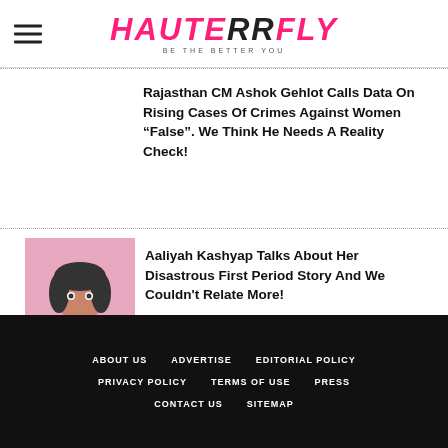HAUTERRFLY - BE THE BETTER YOU
Rajasthan CM Ashok Gehlot Calls Data On Rising Cases Of Crimes Against Women “False”. We Think He Needs A Reality Check!
[Figure (photo): Portrait photo of Aaliyah Kashyap against pink background]
Aaliyah Kashyap Talks About Her Disastrous First Period Story And We Couldn't Relate More!
ABOUT US | ADVERTISE | EDITORIAL POLICY | PRIVACY POLICY | TERMS OF USE | PRESS | CONTACT US | SITEMAP